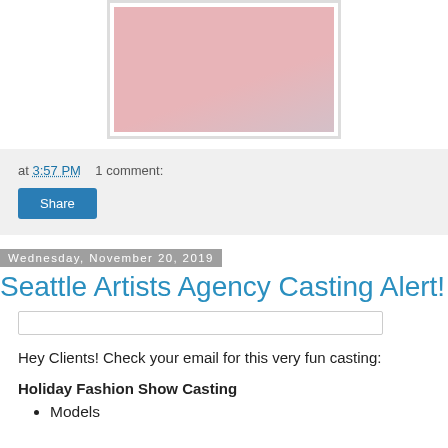[Figure (photo): Person wearing a pink/mauve short-sleeve button-up shirt, cropped view of torso and hands]
at 3:57 PM   1 comment:
Share
Wednesday, November 20, 2019
Seattle Artists Agency Casting Alert!
Hey Clients! Check your email for this very fun casting:
Holiday Fashion Show Casting
Models